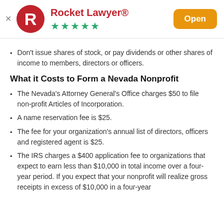[Figure (logo): Rocket Lawyer app header with red R logo, app name, 5 green stars rating, and orange Open button]
Don't issue shares of stock, or pay dividends or other shares of income to members, directors or officers.
What it Costs to Form a Nevada Nonprofit
The Nevada's Attorney General's Office charges $50 to file non-profit Articles of Incorporation.
A name reservation fee is $25.
The fee for your organization's annual list of directors, officers and registered agent is $25.
The IRS charges a $400 application fee to organizations that expect to earn less than $10,000 in total income over a four-year period. If you expect that your nonprofit will realize gross receipts in excess of $10,000 in a four-year